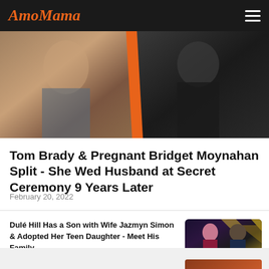AmoMama
[Figure (photo): Split image showing a woman with brown curly hair and blue top on the left, and a man in a dark shirt on the right, separated by an orange diagonal stripe]
Tom Brady & Pregnant Bridget Moynahan Split - She Wed Husband at Secret Ceremony 9 Years Later
February 20, 2022
Dulé Hill Has a Son with Wife Jazmyn Simon & Adopted Her Teen Daughter - Meet His Family
February 24, 2022
[Figure (photo): Photo of a couple at an event with gold geometric background. A woman in a burgundy dress and a man in a dark suit.]